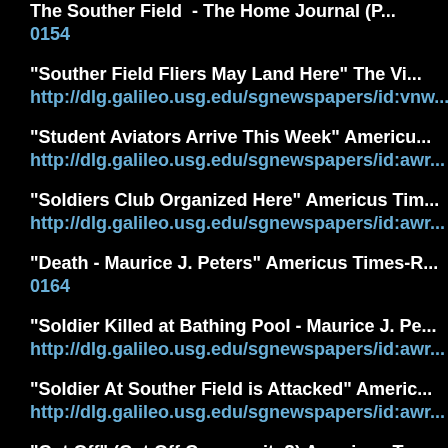The Souther Field - The Home Journal (P... 0154
"Souther Field Fliers May Land Here" The Vi... http://dlg.galileo.usg.edu/sgnewspapers/id:vnw...
"Student Aviators Arrive This Week" Americu... http://dlg.galileo.usg.edu/sgnewspapers/id:awr...
"Soldiers Club Organized Here" Americus Tim... http://dlg.galileo.usg.edu/sgnewspapers/id:awr...
"Death - Maurice J. Peters" Americus Times-R... 0164
"Soldier Killed at Bathing Pool - Maurice J. Pe... http://dlg.galileo.usg.edu/sgnewspapers/id:awr...
"Soldier At Souther Field is Attacked" Americ... http://dlg.galileo.usg.edu/sgnewspapers/id:awr...
"Cut Off" (Cut Off Community?) Americus T... http://dlg.galileo.usg.edu/sgnewspapers/id:awr...